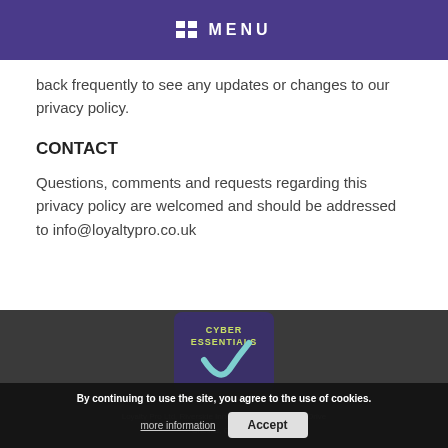MENU
back frequently to see any updates or changes to our privacy policy.
CONTACT
Questions, comments and requests regarding this privacy policy are welcomed and should be addressed to info@loyaltypro.co.uk
[Figure (logo): Cyber Essentials certification badge with purple background and teal/green checkmark]
Loyalty Pro Ltd, Riverside Innovation Centre, Castle Drive, Chester, CH1 1SL
By continuing to use the site, you agree to the use of cookies.